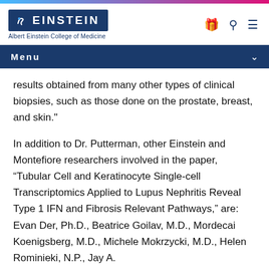Albert Einstein College of Medicine
Menu
results obtained from many other types of clinical biopsies, such as those done on the prostate, breast, and skin."
In addition to Dr. Putterman, other Einstein and Montefiore researchers involved in the paper, “Tubular Cell and Keratinocyte Single-cell Transcriptomics Applied to Lupus Nephritis Reveal Type 1 IFN and Fibrosis Relevant Pathways,” are:  Evan Der, Ph.D., Beatrice Goilav, M.D., Mordecai Koenigsberg, M.D., Michele Mokrzycki, M.D., Helen Rominieki, N.P., Jay A.